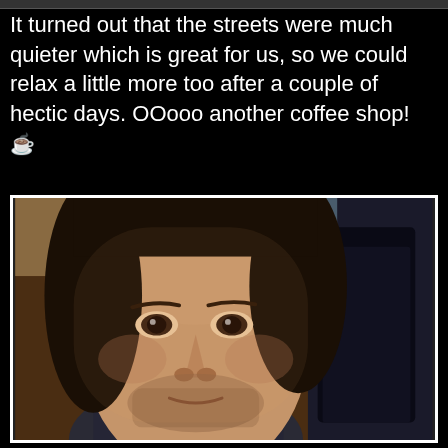It turned out that the streets were much quieter which is great for us, so we could relax a little more too after a couple of hectic days. OOooo another coffee shop! ☕
[Figure (photo): A man with dark hair and a short beard taking a selfie in an indoor setting, possibly a café. Other patrons are visible in the background.]